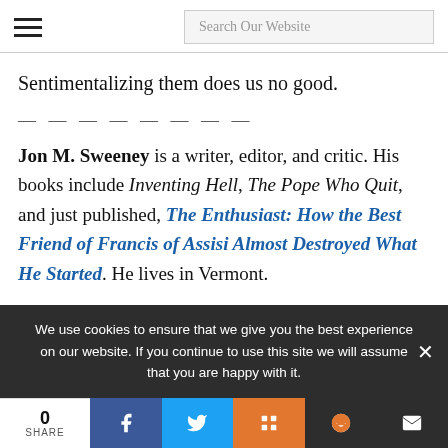Search Our Website
Sentimentalizing them does us no good.
— — — — — — — —
Jon M. Sweeney is a writer, editor, and critic. His books include Inventing Hell, The Pope Who Quit, and just published, The Enthusiast: How the Best Friend of Francis of Assisi Almost Destroyed What He Started. He lives in Vermont.
We use cookies to ensure that we give you the best experience on our website. If you continue to use this site we will assume that you are happy with it.
0 SHARE